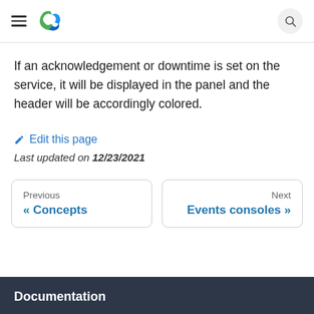[Logo and navigation header with hamburger menu and search icon]
If an acknowledgement or downtime is set on the service, it will be displayed in the panel and the header will be accordingly colored.
✏ Edit this page
Last updated on 12/23/2021
Previous « Concepts
Next Events consoles »
Documentation